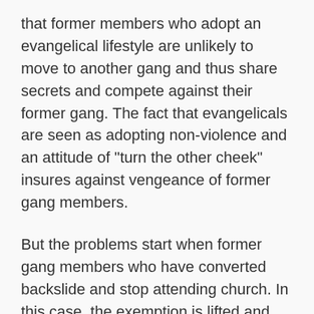that former members who adopt an evangelical lifestyle are unlikely to move to another gang and thus share secrets and compete against their former gang. The fact that evangelicals are seen as adopting non-violence and an attitude of "turn the other cheek" insures against vengeance of former gang members.
But the problems start when former gang members who have converted backslide and stop attending church. In this case, the exemption is lifted and such backsliders can be targeted, since they are now a source of competition for the former gang. Murders of such evangelical defectors are not infrequent. To ensure that former members stay on the